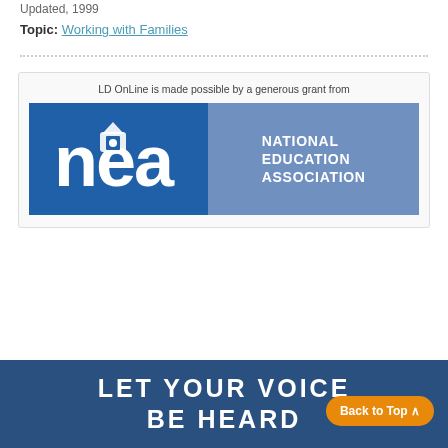Updated, 1999
Topic: Working with Families
[Figure (logo): NEA (National Education Association) logo with blue background. Left side has dark blue with white 'nea' text and icon, right side has lighter blue with 'NATIONAL EDUCATION ASSOCIATION' text. Caption above reads: LD OnLine is made possible by a generous grant from]
LET YOUR VOICE BE HEARD